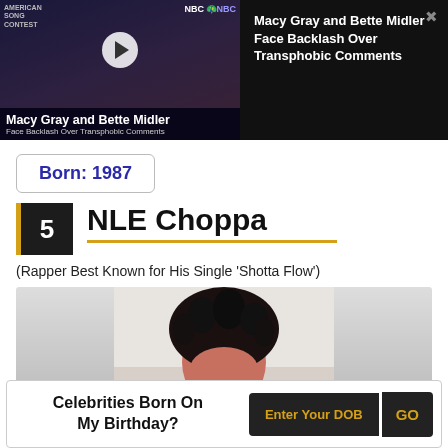[Figure (screenshot): Video thumbnail showing Macy Gray and Bette Midler news story with play button, NBC branding overlay, and text title on right panel]
Born: 1987
5  NLE Choppa
(Rapper Best Known for His Single 'Shotta Flow')
[Figure (photo): Photo of NLE Choppa showing top of head with dreadlocks against light background]
Celebrities Born On My Birthday?  Enter Your DOB  GO